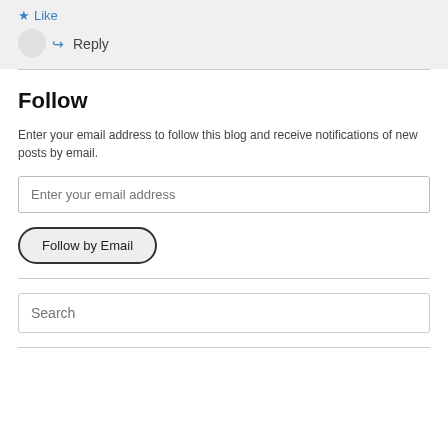[Figure (screenshot): Top gray section showing a Like icon with 'Like' text and a Reply button with arrow icon]
Follow
Enter your email address to follow this blog and receive notifications of new posts by email.
Enter your email address
Follow by Email
Search